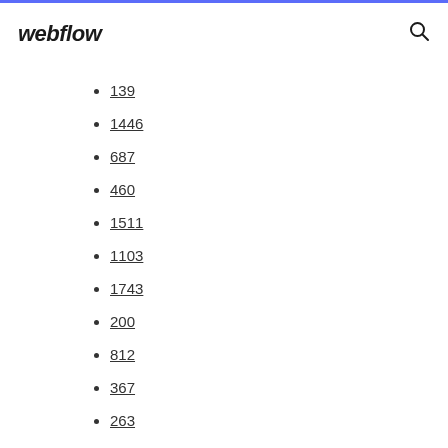webflow
139
1446
687
460
1511
1103
1743
200
812
367
263
787